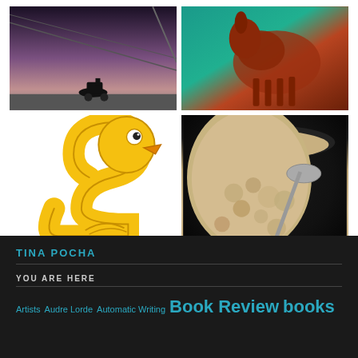[Figure (photo): Grid of four images: top-left shows a dark silhouette scene with a person on motorcycle under a bridge at dusk; top-right shows a horse or animal in teal/reddish tones; bottom-left shows a yellow rubber duck emoji/number 2 cartoon; bottom-right shows a bowl of oatmeal with a spoon]
TINA POCHA
YOU ARE HERE
Artists  Audre Lorde  Automatic Writing  Book Review  books